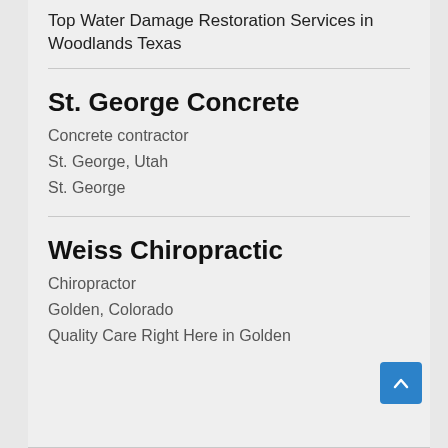Top Water Damage Restoration Services in Woodlands Texas
St. George Concrete
Concrete contractor
St. George, Utah
St. George
Weiss Chiropractic
Chiropractor
Golden, Colorado
Quality Care Right Here in Golden